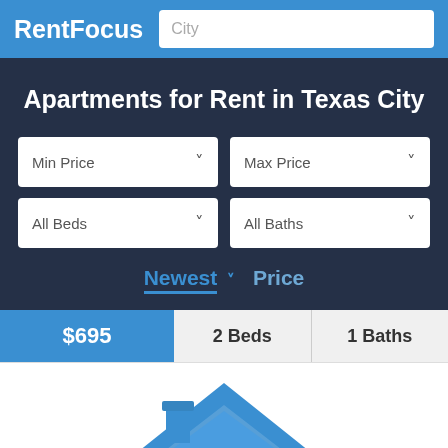RentFocus | City
Apartments for Rent in Texas City
Min Price | Max Price | All Beds | All Baths
Newest ∨ Price
$695 | 2 Beds | 1 Baths
[Figure (logo): House/home icon illustration in blue]